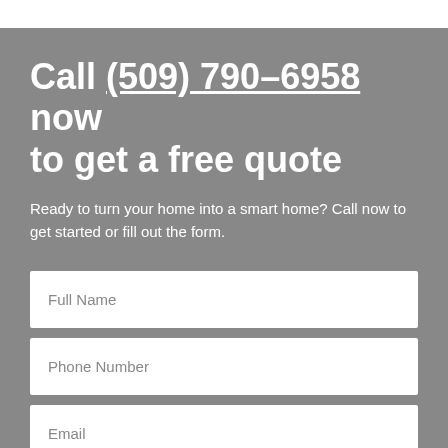Call (509) 790-6958 now to get a free quote
Ready to turn your home into a smart home? Call now to get started or fill out the form.
[Figure (other): Contact form with three input fields: Full Name, Phone Number, and Email]